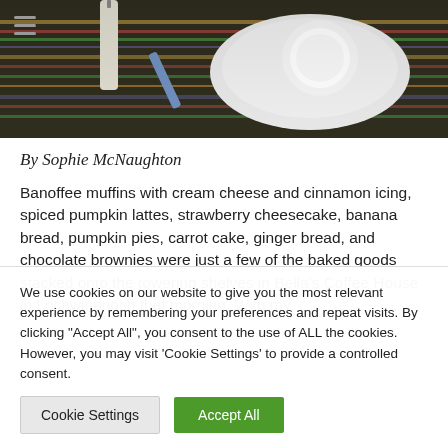[Figure (photo): Top-down view of a coffee cup on a saucer with colorful striped tablecloth and candle in the background]
By Sophie McNaughton
Banoffee muffins with cream cheese and cinnamon icing, spiced pumpkin lattes, strawberry cheesecake, banana bread, pumpkin pies, carrot cake, ginger bread, and chocolate brownies were just a few of the baked goods stacked onto the towering shelves in Bella's Coffee House in Lochwinnnoch that morning. With my
We use cookies on our website to give you the most relevant experience by remembering your preferences and repeat visits. By clicking "Accept All", you consent to the use of ALL the cookies. However, you may visit 'Cookie Settings' to provide a controlled consent.
Cookie Settings
Accept All